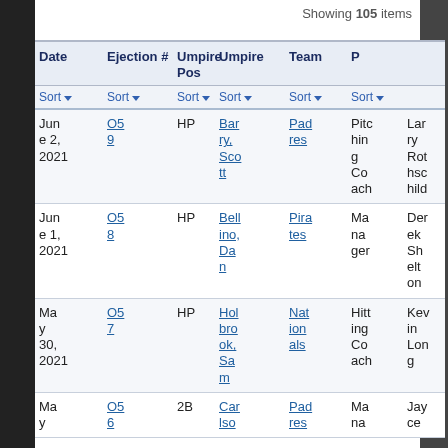Showing 105 items
| Date | Ejection # | Umpire Pos | Umpire | Team | P |
| --- | --- | --- | --- | --- | --- |
| Jun e 2, 2021 | O59 | HP | Barry, Scott | Padres | Pitching Coach | Larry Rothschild |
| Jun e 1, 2021 | O58 | HP | Bellino, Dan | Pirates | Manager | Derek Shelton |
| May 30, 2021 | O57 | HP | Holbrook, Sam | Nationals | Hitting Coach | Kevin Long |
| May | O56 | 2B | Carlso | Padres | Mana | Jayce |